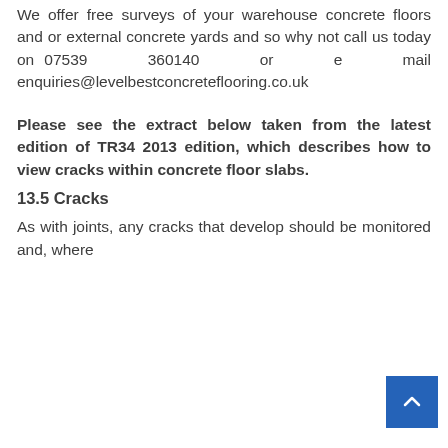We offer free surveys of your warehouse concrete floors and or external concrete yards and so why not call us today on 07539 360140 or e mail enquiries@levelbestconcreteflooring.co.uk
Please see the extract below taken from the latest edition of TR34 2013 edition, which describes how to view cracks within concrete floor slabs.
13.5 Cracks
As with joints, any cracks that develop should be monitored and, where